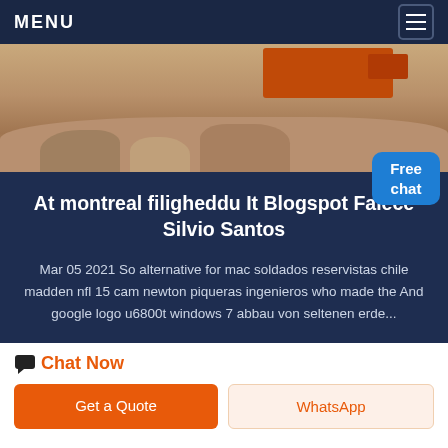MENU
[Figure (photo): Construction site photo showing excavation with orange machinery and piles of rocks and rubble]
At montreal filigheddu It Blogspot Falece Silvio Santos
Mar 05 2021 So alternative for mac soldados reservistas chile madden nfl 15 cam newton piqueras ingenieros who made the And google logo u6800t windows 7 abbau von seltenen erde...
Chat Now
Get a Quote
WhatsApp